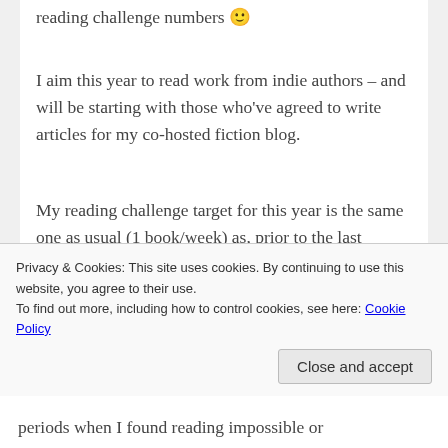reading challenge numbers 🙂
I aim this year to read work from indie authors – and will be starting with those who've agreed to write articles for my co-hosted fiction blog.
My reading challenge target for this year is the same one as usual (1 book/week) as, prior to the last couple of years, it's a target I've managed to comfortably exceed.
Although Goodreads has a habit of suggesting
Privacy & Cookies: This site uses cookies. By continuing to use this website, you agree to their use.
To find out more, including how to control cookies, see here: Cookie Policy
Close and accept
periods when I found reading impossible or